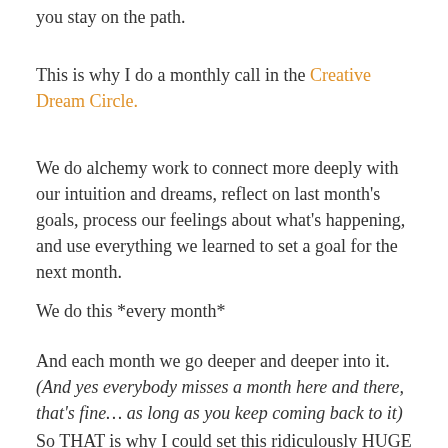you stay on the path.
This is why I do a monthly call in the Creative Dream Circle.
We do alchemy work to connect more deeply with our intuition and dreams, reflect on last month's goals, process our feelings about what's happening, and use everything we learned to set a goal for the next month.
We do this *every month*
And each month we go deeper and deeper into it. (And yes everybody misses a month here and there, that's fine… as long as you keep coming back to it)
So THAT is why I could set this ridiculously HUGE goal